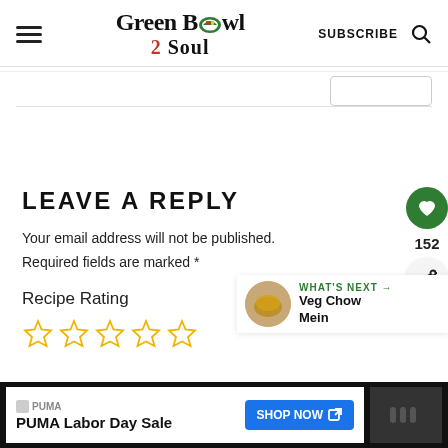Green Bowl 2 Soul — SUBSCRIBE
LEAVE A REPLY
Your email address will not be published. Required fields are marked *
Recipe Rating
[Figure (other): Five empty star rating icons in gold/yellow outline]
[Figure (other): What's Next panel with food image thumbnail and text: Veg Chow Mein]
[Figure (other): Advertisement bar: PUMA Labor Day Sale, SHOP NOW button]